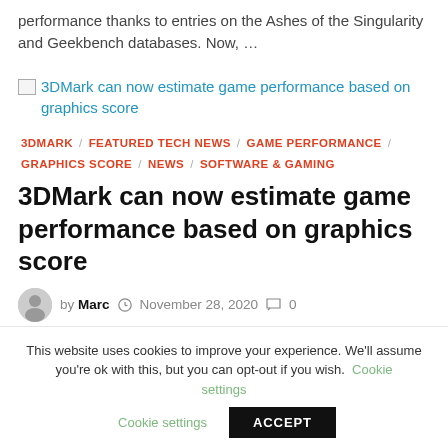performance thanks to entries on the Ashes of the Singularity and Geekbench databases. Now, …
[Figure (other): Broken image placeholder with link: 3DMark can now estimate game performance based on graphics score]
3DMARK / FEATURED TECH NEWS / GAME PERFORMANCE / GRAPHICS SCORE / NEWS / SOFTWARE & GAMING
3DMark can now estimate game performance based on graphics score
by Marc  November 28, 2020  0
This website uses cookies to improve your experience. We'll assume you're ok with this, but you can opt-out if you wish. Cookie settings ACCEPT